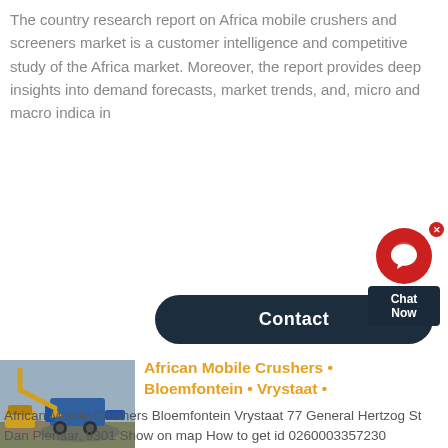The country research report on Africa mobile crushers and screeners market is a customer intelligence and competitive study of the Africa market. Moreover, the report provides deep insights into demand forecasts, market trends, and, micro and macro indica in
[Figure (screenshot): Chat widget with red circular icon, dark navy 'Chat Now' label box, and a dark navy 'Contact' pill button]
[Figure (photo): Photo of a yellow excavator/crane and blue mobile crusher at a mining or construction site]
African Mobile Crushers • Bloemfontein • Vrystaat •
African Mobile Crushers Bloemfontein Vrystaat 77 General Hertzog St Dan Pienaar, 9301 Show on map How to get id 0260003357230